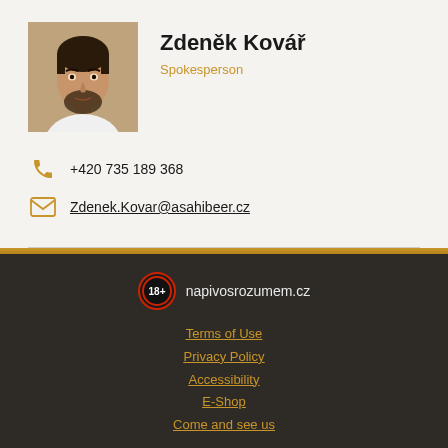[Figure (photo): Portrait photo of Zdeněk Kovář, a man with dark hair and beard wearing a white shirt, photographed in front of an ornate background]
Zdeněk Kovář
Spokesperson
+420 735 189 368
Zdenek.Kovar@asahibeer.cz
[Figure (logo): 18+ age restriction badge (circular, red border on dark background) followed by text napivosrozumem.cz]
Terms of Use
Privacy Policy
Accessibility
E-Shop
Come and see us